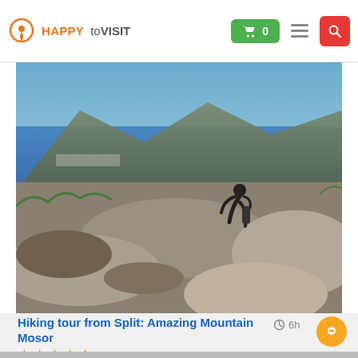HAPPYtoVISIT — navigation header with cart (0), hamburger menu, search button
[Figure (photo): A hiker bending over rocks on mountain Mosor with a panoramic view of the sea and coastal town of Split in the background under blue sky]
Hiking tour from Split: Amazing Mountain Mosor
★★★★★
Climb up to the beautiful mountain of Mosor and enjoy in the enchanting view. Experience .... Read more
6h
From: 34.65 € (Per person)
Detail